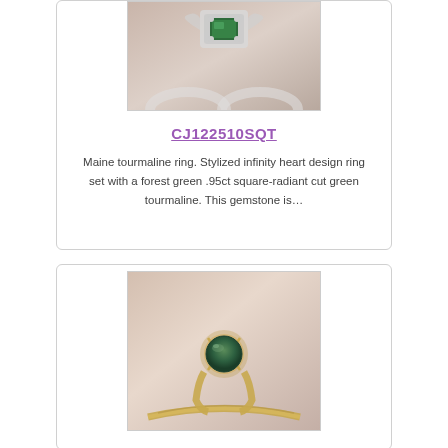[Figure (photo): Partial top view of a white/silver ring with green tourmaline stone set in an infinity heart design, on a beige/taupe background]
CJ122510SQT
Maine tourmaline ring. Stylized infinity heart design ring set with a forest green .95ct square-radiant cut green tourmaline. This gemstone is…
[Figure (photo): A gold solitaire ring with a round green tourmaline stone in a claw/prong setting with a textured gold band, photographed on a soft beige background]